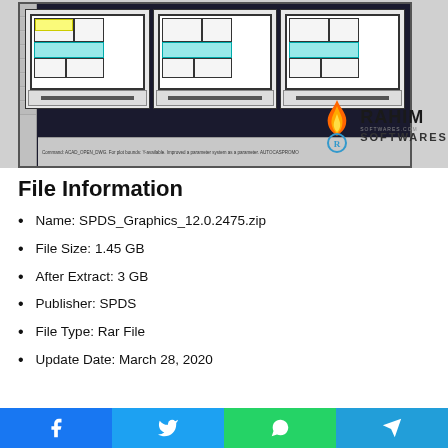[Figure (screenshot): Screenshot of SPDS Graphics CAD software showing floor plan layouts with Rahim Softwares watermark logo overlay]
File Information
Name: SPDS_Graphics_12.0.2475.zip
File Size: 1.45 GB
After Extract: 3 GB
Publisher: SPDS
File Type: Rar File
Update Date: March 28, 2020
Facebook Twitter WhatsApp Telegram social share buttons